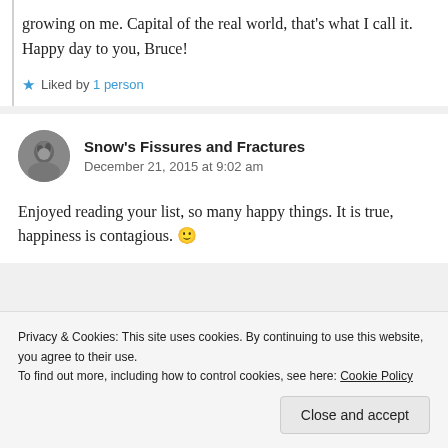growing on me. Capital of the real world, that's what I call it. Happy day to you, Bruce!
Liked by 1 person
Snow's Fissures and Fractures
December 21, 2015 at 9:02 am
Enjoyed reading your list, so many happy things. It is true, happiness is contagious. 🙂
Privacy & Cookies: This site uses cookies. By continuing to use this website, you agree to their use. To find out more, including how to control cookies, see here: Cookie Policy